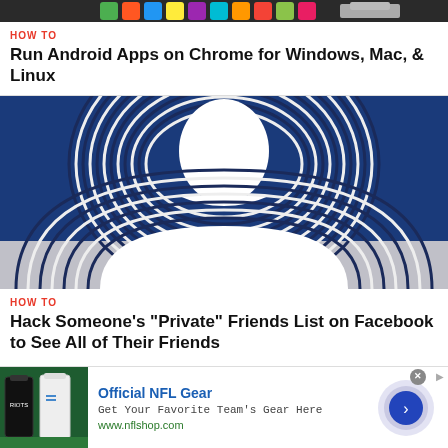[Figure (screenshot): Top image strip showing colorful app icons including what appears to be Android app icons on a dark background]
HOW TO
Run Android Apps on Chrome for Windows, Mac, & Linux
[Figure (illustration): Blue background with repeated layered white silhouette outline of a Facebook-style person/profile icon, creating a ripple or echo effect with dark blue outlines]
HOW TO
Hack Someone's "Private" Friends List on Facebook to See All of Their Friends
[Figure (screenshot): Advertisement for Official NFL Gear featuring football jerseys and a circular arrow button, with NFL shop URL]